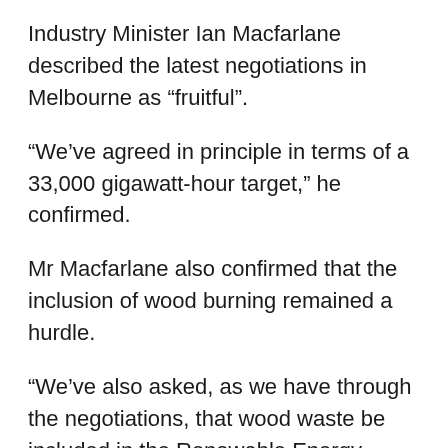Industry Minister Ian Macfarlane described the latest negotiations in Melbourne as “fruitful”.
“We’ve agreed in principle in terms of a 33,000 gigawatt-hour target,” he confirmed.
Mr Macfarlane also confirmed that the inclusion of wood burning remained a hurdle.
“We’ve also asked, as we have through the negotiations, that wood waste be included in the Renewable Energy Target,” he said.
“That’s an issue which we’re yet to agree on but I’m confident one way or another we’ll resolve it.”
Opposition environment spokesman Mark Butler said he